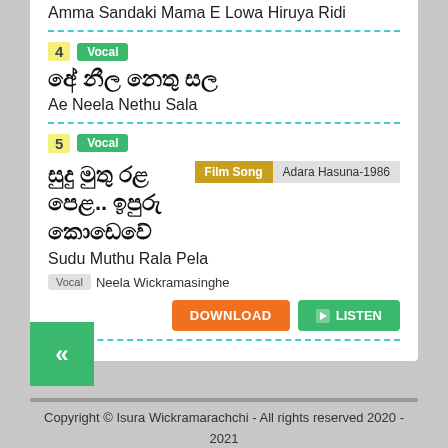Amma Sandaki Mama E Lowa Hiruya Ridi
4 Vocal — Ae Neela Nethu Sala
5 Vocal — Sudu Muthu Rala Pela — Film Song Adara Hasuna-1986 — Vocal Neela Wickramasinghe
Copyright © Isura Wickramarachchi - All rights reserved 2020 - 2021
Powered by isandi CREATIONS